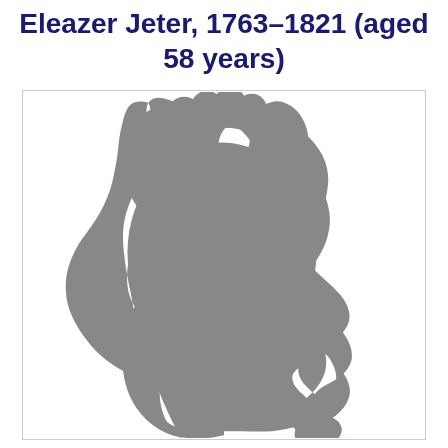Eleazer Jeter, 1763–1821 (aged 58 years)
[Figure (illustration): A grey silhouette profile portrait of a person facing right, showing head and upper shoulders, with curly/textured hair visible at the top and back of the head. The silhouette is rendered in mid-grey against a white background inside a bordered rectangle.]